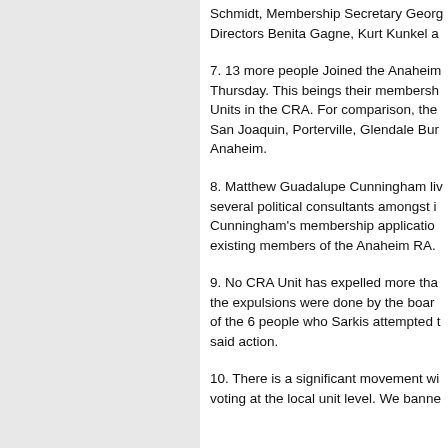Schmidt, Membership Secretary Georg Directors Benita Gagne, Kurt Kunkel a
7. 13 more people Joined the Anaheim Thursday. This beings their membersh Units in the CRA. For comparison, the San Joaquin, Porterville, Glendale Bur Anaheim.
8. Matthew Guadalupe Cunningham liv several political consultants amongst i Cunningham's membership applicatio existing members of the Anaheim RA.
9. No CRA Unit has expelled more tha the expulsions were done by the boar of the 6 people who Sarkis attempted t said action.
10. There is a significant movement wi voting at the local unit level. We banne